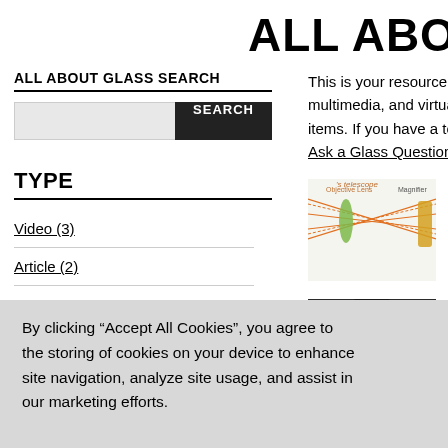ALL ABOUT GLA
ALL ABOUT GLASS SEARCH
This is your resource for exploring multimedia, and virtual books a items. If you have a topic you'd Ask a Glass Question at our Rak
TYPE
Video (3)
Article (2)
[Figure (illustration): Diagram of a telescope showing objective lens and magnification with orange ray lines and green lens element labeled 'Objective Lens' and 'Magnifier']
The Quest to
Article
Where the tel lens. It's noth perceive the w
[Figure (photo): Portrait of a historical figure with curly dark hair, black and white or sepia tone]
Lens Making
TAG CLOUD
By clicking “Accept All Cookies”, you agree to the storing of cookies on your device to enhance site navigation, analyze site usage, and assist in our marketing efforts.